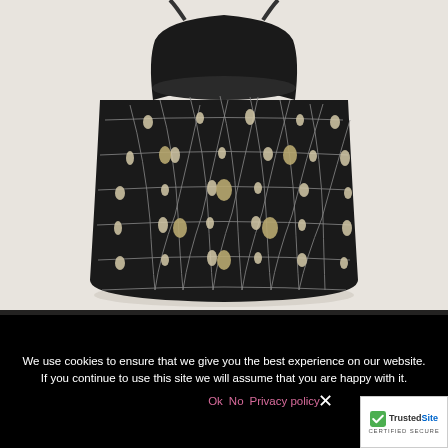[Figure (photo): Product photo of a black leather bucket bag with a decorative macrame/rope net overlay adorned with shells and metallic charms, on a beige/cream background.]
We use cookies to ensure that we give you the best experience on our website. If you continue to use this site we will assume that you are happy with it.
Ok  No  Privacy policy
[Figure (logo): TrustedSite CERTIFIED SECURE badge with green checkmark]